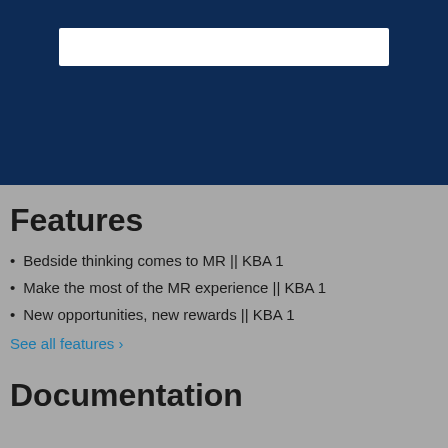[Figure (screenshot): Dark navy blue hero banner with a white search bar input field centered near the top]
Features
Bedside thinking comes to MR || KBA 1
Make the most of the MR experience || KBA 1
New opportunities, new rewards || KBA 1
See all features ›
Documentation